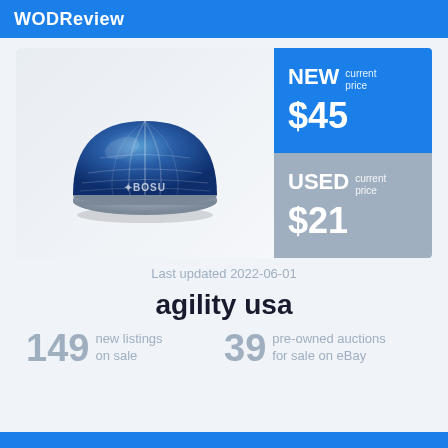WODReview
[Figure (photo): BOSU balance trainer ball - blue dome hemisphere with gray base, brand logo visible]
NEW current price $45
USED current price $21
Last updated 2022-06-01
agility usa
149 new listings on sale
39 pre-owned auctions for sale on eBay